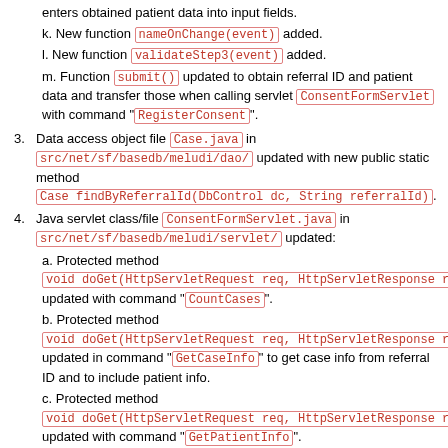enters obtained patient data into input fields.
k. New function nameOnChange(event) added.
l. New function validateStep3(event) added.
m. Function submit() updated to obtain referral ID and patient data and transfer those when calling servlet ConsentFormServlet with command "RegisterConsent".
3. Data access object file Case.java in src/net/sf/basedb/meludi/dao/ updated with new public static method Case findByReferralId(DbControl dc, String referralId).
4. Java servlet class/file ConsentFormServlet.java in src/net/sf/basedb/meludi/servlet/ updated:
a. Protected method void doGet(HttpServletRequest req, HttpServletResponse resp) updated with command "CountCases".
b. Protected method void doGet(HttpServletRequest req, HttpServletResponse resp) updated in command "GetCaseInfo" to get case info from referral ID and to include patient info.
c. Protected method void doGet(HttpServletRequest req, HttpServletResponse resp) updated with command "GetPatientInfo".
d. New private method String fetchNewCaseName(DbControl dc) added. It calls new private method String fetchHighestCaseName(DbControl dc) to get the current highest case name, after which it returns a new case name with incremented serial number.